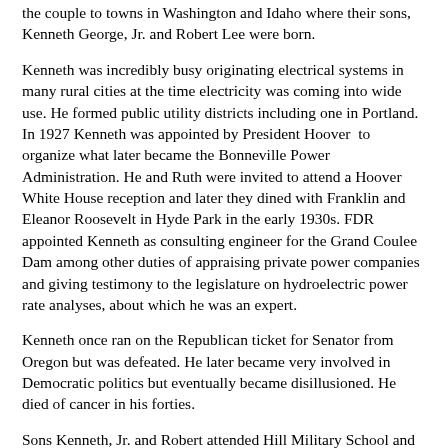the couple to towns in Washington and Idaho where their sons, Kenneth George, Jr. and Robert Lee were born.
Kenneth was incredibly busy originating electrical systems in many rural cities at the time electricity was coming into wide use. He formed public utility districts including one in Portland. In 1927 Kenneth was appointed by President Hoover  to organize what later became the Bonneville Power Administration. He and Ruth were invited to attend a Hoover White House reception and later they dined with Franklin and Eleanor Roosevelt in Hyde Park in the early 1930s. FDR appointed Kenneth as consulting engineer for the Grand Coulee Dam among other duties of appraising private power companies and giving testimony to the legislature on hydroelectric power rate analyses, about which he was an expert.
Kenneth once ran on the Republican ticket for Senator from Oregon but was defeated. He later became very involved in Democratic politics but eventually became disillusioned. He died of cancer in his forties.
Sons Kenneth, Jr. and Robert attended Hill Military School and Beale Military School and graduated from both Lakeside School in Seattle and the University of Washington. Kenneth, Jr. became an electrical engineer for Lockheed in Los Angeles, and Robert became an attorney, later starting his own lumber company, Pacific Wood Products which became Harlan Pacific.